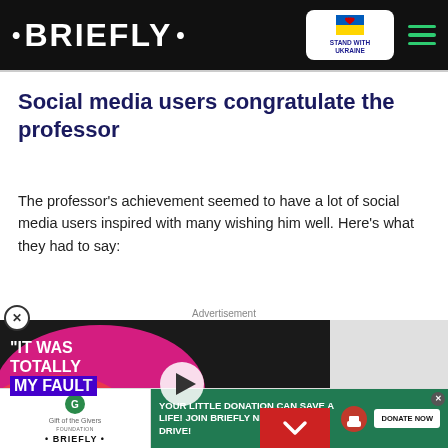• BRIEFLY •  STAND WITH UKRAINE
Social media users congratulate the professor
The professor's achievement seemed to have a lot of social media users inspired with many wishing him well. Here's what they had to say:
[Figure (screenshot): Video thumbnail showing a man in a wheelchair in a suit with text 'IT WAS TOTALLY MY FAULT' overlaid on a colorful blob, and a play button]
[Figure (screenshot): Bottom advertisement banner: Gift of the Givers Foundation and Briefly logo on white background on the left; green background on the right with text 'YOUR LITTLE DONATION CAN SAVE A LIFE! JOIN BRIEFLY NEWS BLANKET DRIVE!' and DONATE NOW button]